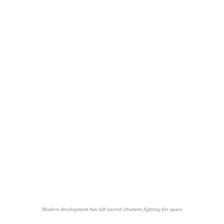[Figure (photo): A full-page photograph (mostly white/blank in this rendering) showing modern development alongside sacred choetens]
Modern development has left sacred choetens fighting for space